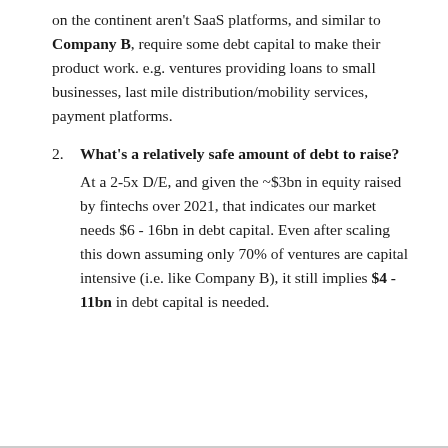on the continent aren't SaaS platforms, and similar to Company B, require some debt capital to make their product work. e.g. ventures providing loans to small businesses, last mile distribution/mobility services, payment platforms.
2. What's a relatively safe amount of debt to raise? At a 2-5x D/E, and given the ~$3bn in equity raised by fintechs over 2021, that indicates our market needs $6 - 16bn in debt capital. Even after scaling this down assuming only 70% of ventures are capital intensive (i.e. like Company B), it still implies $4 - 11bn in debt capital is needed.